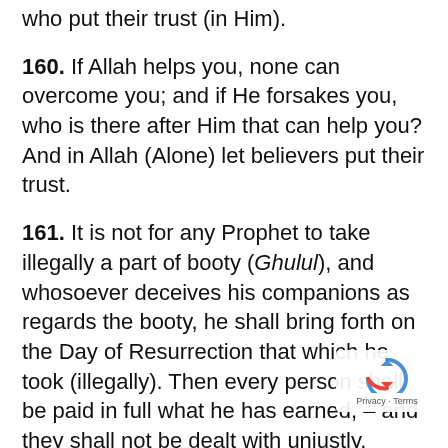who put their trust (in Him).
160. If Allah helps you, none can overcome you; and if He forsakes you, who is there after Him that can help you? And in Allah (Alone) let believers put their trust.
161. It is not for any Prophet to take illegally a part of booty (Ghulul), and whosoever deceives his companions as regards the booty, he shall bring forth on the Day of Resurrection that which he took (illegally). Then every person shall be paid in full what he has earned, – and they shall not be dealt with unjustly.
162. Is then one who follows (seeks) the good Pleasure of Allah (by not taking illegally